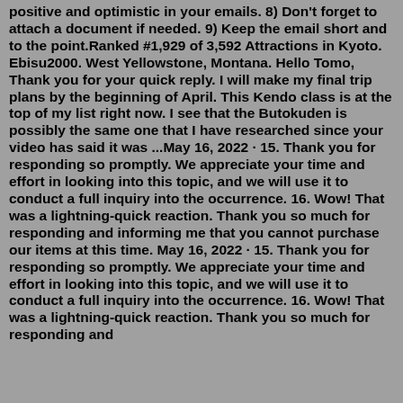positive and optimistic in your emails. 8) Don't forget to attach a document if needed. 9) Keep the email short and to the point.Ranked #1,929 of 3,592 Attractions in Kyoto. Ebisu2000. West Yellowstone, Montana. Hello Tomo, Thank you for your quick reply. I will make my final trip plans by the beginning of April. This Kendo class is at the top of my list right now. I see that the Butokuden is possibly the same one that I have researched since your video has said it was ...May 16, 2022 · 15. Thank you for responding so promptly. We appreciate your time and effort in looking into this topic, and we will use it to conduct a full inquiry into the occurrence. 16. Wow! That was a lightning-quick reaction. Thank you so much for responding and informing me that you cannot purchase our items at this time. May 16, 2022 · 15. Thank you for responding so promptly. We appreciate your time and effort in looking into this topic, and we will use it to conduct a full inquiry into the occurrence. 16. Wow! That was a lightning-quick reaction. Thank you so much for responding and